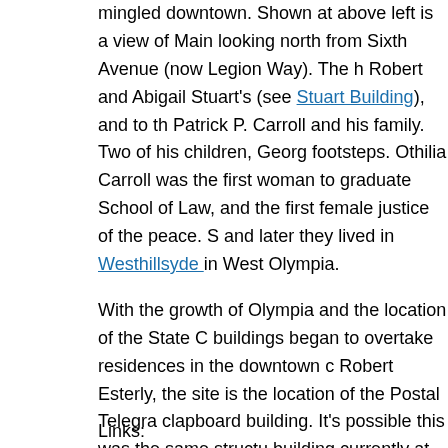mingled downtown. Shown at above left is a view of Main looking north from Sixth Avenue (now Legion Way). The h Robert and Abigail Stuart's (see Stuart Building), and to th Patrick P. Carroll and his family. Two of his children, Georg footsteps. Othilia Carroll was the first woman to graduate School of Law, and the first female justice of the peace. S and later they lived in Westhillsyde in West Olympia.
With the growth of Olympia and the location of the State C buildings began to overtake residences in the downtown c Robert Esterly, the site is the location of the Postal Telegra clapboard building. It's possible this was the same structu building currently at the site of the Carroll home was erect with much of downtown, with its clerestory windows, reces awnings. It has been the home to several businesses ove Hibberd & Cole Men's Store, from which the building takes local register and in the Downtown National Historic Distri
Links: